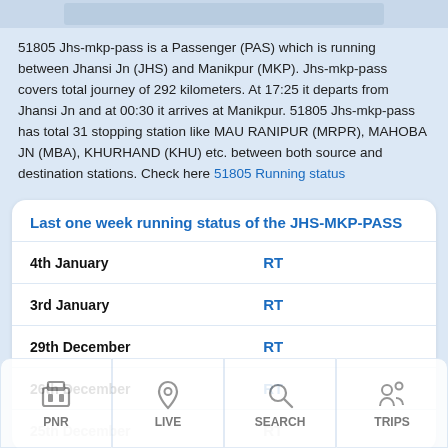51805 Jhs-mkp-pass is a Passenger (PAS) which is running between Jhansi Jn (JHS) and Manikpur (MKP). Jhs-mkp-pass covers total journey of 292 kilometers. At 17:25 it departs from Jhansi Jn and at 00:30 it arrives at Manikpur. 51805 Jhs-mkp-pass has total 31 stopping station like MAU RANIPUR (MRPR), MAHOBA JN (MBA), KHURHAND (KHU) etc. between both source and destination stations. Check here 51805 Running status
Last one week running status of the JHS-MKP-PASS
| Date | Status |
| --- | --- |
| 4th January | RT |
| 3rd January | RT |
| 29th December | RT |
| 26th December | RT |
| 25th December | RT |
| 22nd December | RT |